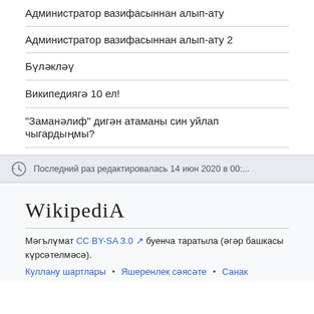Администратор вазифасыннан алып-ату
Администратор вазифасыннан алып-ату 2
Бүләкләү
Википедиягә 10 ел!
"Заманәлиф" дигән атаманы син уйлап чыгардыңмы?
Последний раз редактировалась 14 июн 2020 в 00:...
WIKIPEDIA
Мәгълүмат CC BY-SA 3.0 буенча таратыла (әгәр башкасы күрсәтелмәсә).
Куллану шартлары • Яшеренлек сәясәте • Санак